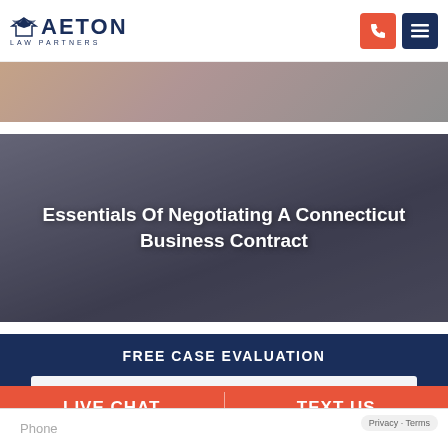[Figure (logo): Aeton Law Partners logo with eagle icon and text]
[Figure (photo): Partial cropped photo of person at laptop, warm tones]
[Figure (photo): Photo of business people negotiating contract, dark overlay with white bold text: Essentials Of Negotiating A Connecticut Business Contract]
Essentials Of Negotiating A Connecticut Business Contract
FREE CASE EVALUATION
LIVE CHAT
TEXT US
Phone
Privacy · Terms